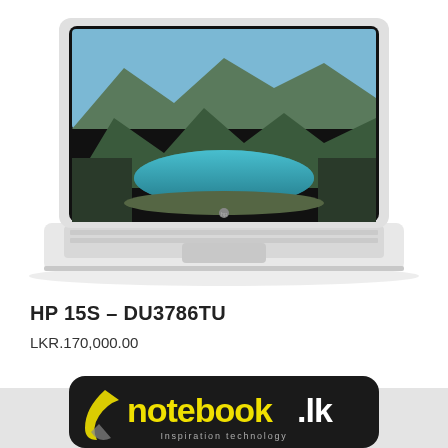[Figure (photo): HP 15S laptop computer open, showing a scenic mountain lake wallpaper on screen, white/silver body with full keyboard and touchpad, viewed from slightly above front angle.]
HP 15S – DU3786TU
LKR.170,000.00
[Figure (logo): notebook.lk logo — dark rounded rectangle with yellow 'notebook' text, white '.lk' text, and tagline 'Inspiration technology' in grey, with a stylized swoosh/checkmark on the left.]